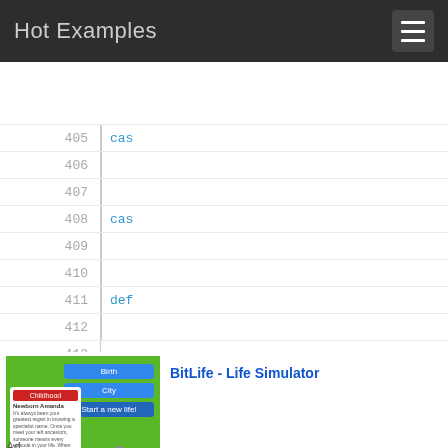Hot Examples
405
406
407
408
409
410
411
412
413
414
415
416
417
418
419
[Figure (screenshot): BitLife - Life Simulator advertisement banner with game screenshot and app store buttons]
Ad